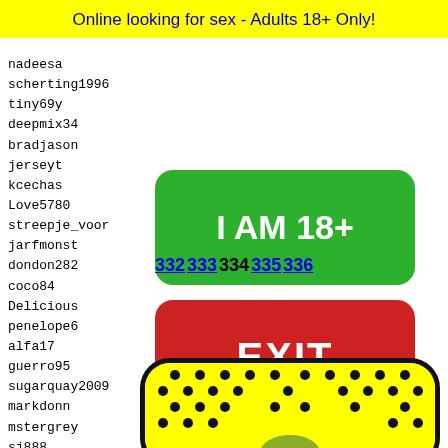Online looking for sex - Adults 18+ Only!
nadeesa
scherting1996
tiny69y
deepmix34
bradjason
jerseyt
kcechas
Love5780
streepje_voor
jarfmonst
dondon282
coco84
Delicious
penelope6
alfa17
guerro95
sugarquay2009
markdonn
mstergrey
sj888
palvi
hadiab
izzex
hbjhmm
like29
jones5
[Figure (other): Green button with text I AM 18+]
[Figure (other): Red EXIT button]
332 333 334 335 336
[Figure (other): Snapchat-style yellow rounded rectangle with black dots pattern and emoji at bottom]